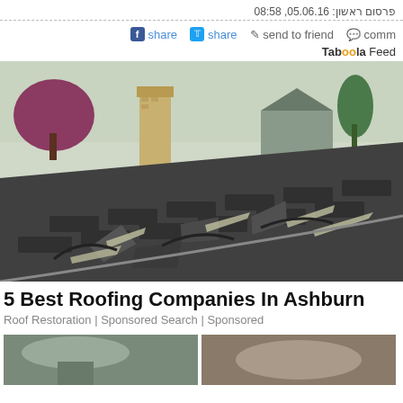פרסום ראשון: 05.06.16, 08:58
share  share  send to friend  comm
Taboola Feed
[Figure (photo): Damaged roof with severely curled and peeling dark shingles. A brick chimney and trees with pink blossoms visible in background.]
5 Best Roofing Companies In Ashburn
Roof Restoration | Sponsored Search | Sponsored
[Figure (photo): Two small thumbnail images at the bottom of the page, partially cut off.]